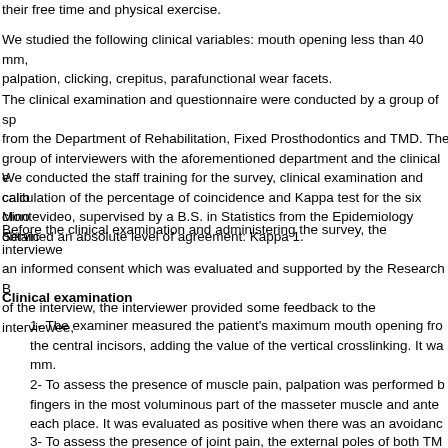their free time and physical exercise.
We studied the following clinical variables: mouth opening less than 40 mm, palpation, clicking, crepitus, parafunctional wear facets.
The clinical examination and questionnaire were conducted by a group of sp from the Department of Rehabilitation, Fixed Prosthodontics and TMD. The group of interviewers with the aforementioned department and the clinical e calculation of the percentage of coincidence and Kappa test for the six clino obtained an absolute level of agreement: Kappa 1.
We conducted the staff training for the survey, clinical examination and calib Montevideo, supervised by a B.S. in Statistics from the Epidemiology Servic
Before the clinical examination and administering the survey, the interviewe an informed consent which was evaluated and supported by the Research B of the interview, the interviewer provided some feedback to the interviewee,
Clinical examination
1- The examiner measured the patient's maximum mouth opening fro the central incisors, adding the value of the vertical crosslinking. It wa mm.
2- To assess the presence of muscle pain, palpation was performed b fingers in the most voluminous part of the masseter muscle and ante each place. It was evaluated as positive when there was an avoidanc
3- To assess the presence of joint pain, the external poles of both TM was evaluated as positive when there was an avoidance reflex, whic